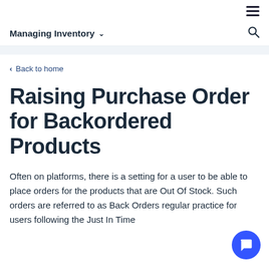Managing Inventory
< Back to home
Raising Purchase Order for Backordered Products
Often on platforms, there is a setting for a user to be able to place orders for the products that are Out Of Stock. Such orders are referred to as Back Orders regular practice for users following the Just In Time